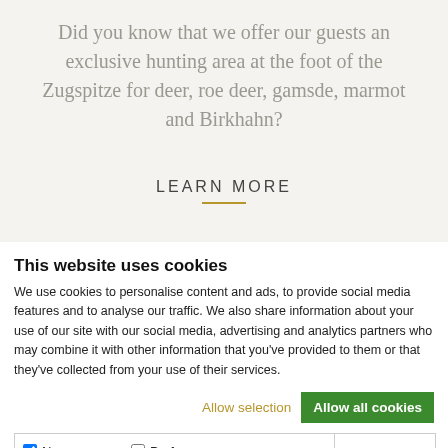Did you know that we offer our guests an exclusive hunting area at the foot of the Zugspitze for deer, roe deer, gamsde, marmot and Birkhahn?
LEARN MORE
This website uses cookies
We use cookies to personalise content and ads, to provide social media features and to analyse our traffic. We also share information about your use of our site with our social media, advertising and analytics partners who may combine it with other information that you've provided to them or that they've collected from your use of their services.
Allow selection | Allow all cookies | Necessary | Preferences | Statistics | Marketing | Show details